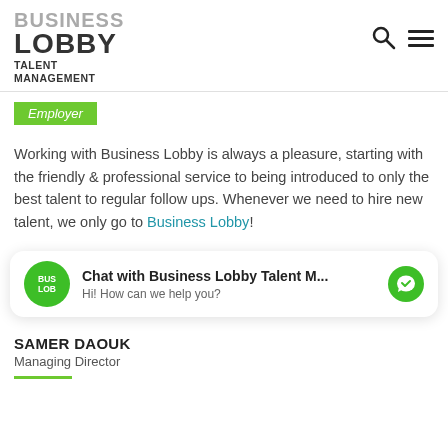BUSINESS LOBBY TALENT MANAGEMENT
Employer
Working with Business Lobby is always a pleasure, starting with the friendly & professional service to being introduced to only the best talent to regular follow ups. Whenever we need to hire new talent, we only go to Business Lobby!
[Figure (other): Chat widget showing Business Lobby Talent M... with messenger icon and text Hi! How can we help you?]
SAMER DAOUK
Managing Director